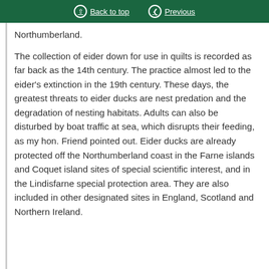Back to top | Previous
Northumberland.
The collection of eider down for use in quilts is recorded as far back as the 14th century. The practice almost led to the eider's extinction in the 19th century. These days, the greatest threats to eider ducks are nest predation and the degradation of nesting habitats. Adults can also be disturbed by boat traffic at sea, which disrupts their feeding, as my hon. Friend pointed out. Eider ducks are already protected off the Northumberland coast in the Farne islands and Coquet island sites of special scientific interest, and in the Lindisfarne special protection area. They are also included in other designated sites in England, Scotland and Northern Ireland.